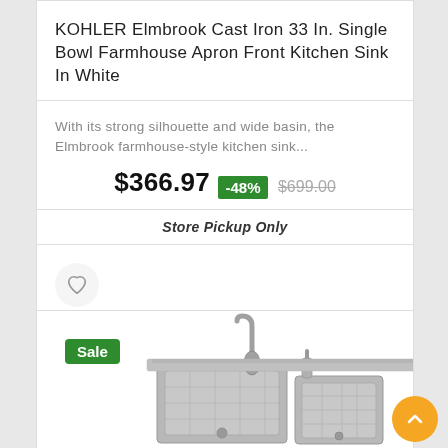KOHLER Elmbrook Cast Iron 33 In. Single Bowl Farmhouse Apron Front Kitchen Sink In White
With its strong silhouette and wide basin, the Elmbrook farmhouse-style kitchen sink...
$366.97 -48% $699.00
Store Pickup Only
[Figure (illustration): Heart/wishlist icon button in a circular gray button]
[Figure (photo): Stainless steel double-bowl undermount kitchen sink with pull-down faucet and soap dispenser, shown from above at an angle]
Sale